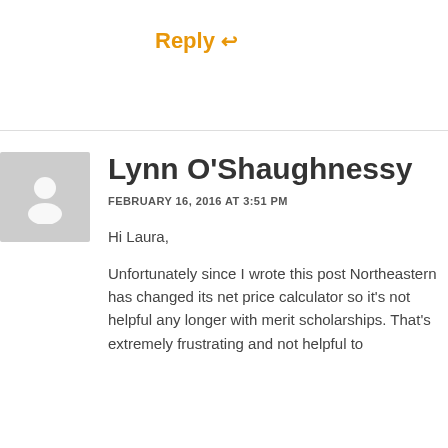Reply ↩
[Figure (illustration): Generic user avatar placeholder — grey square with white silhouette of a person]
Lynn O'Shaughnessy
FEBRUARY 16, 2016 AT 3:51 PM
Hi Laura,
Unfortunately since I wrote this post Northeastern has changed its net price calculator so it's not helpful any longer with merit scholarships. That's extremely frustrating and not helpful to